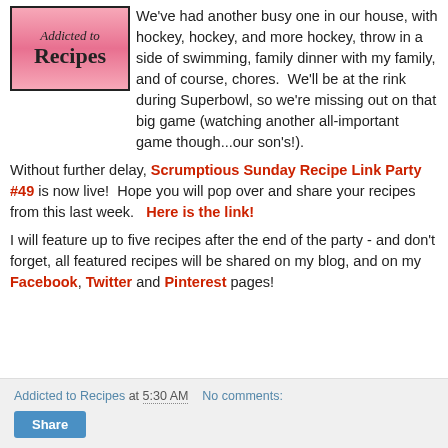[Figure (logo): Addicted to Recipes blog logo — pink gradient background with script 'Addicted to' and bold serif 'Recipes' text]
We've had another busy one in our house, with hockey, hockey, and more hockey, throw in a side of swimming, family dinner with my family, and of course, chores.  We'll be at the rink during Superbowl, so we're missing out on that big game (watching another all-important game though...our son's!).
Without further delay, Scrumptious Sunday Recipe Link Party #49 is now live!  Hope you will pop over and share your recipes from this last week.   Here is the link!
I will feature up to five recipes after the end of the party - and don't forget, all featured recipes will be shared on my blog, and on my Facebook, Twitter and Pinterest pages!
Addicted to Recipes at 5:30 AM   No comments:  Share